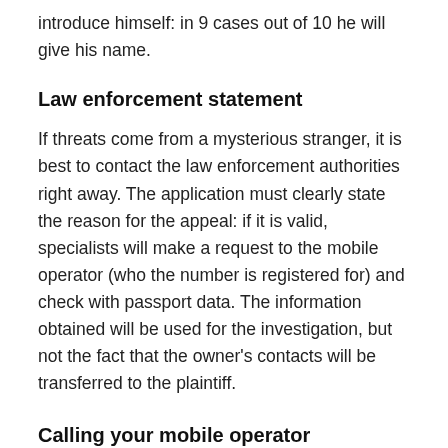introduce himself: in 9 cases out of 10 he will give his name.
Law enforcement statement
If threats come from a mysterious stranger, it is best to contact the law enforcement authorities right away. The application must clearly state the reason for the appeal: if it is valid, specialists will make a request to the mobile operator (who the number is registered for) and check with passport data. The information obtained will be used for the investigation, but not the fact that the owner's contacts will be transferred to the plaintiff.
Calling your mobile operator
If you regularly receive threats from a stranger, you can directly contact your service provider and state the reason